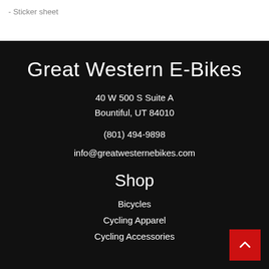- Sticker sheet
Great Western E-Bikes
40 W 500 S Suite A
Bountiful, UT 84010
(801) 494-9898
info@greatwesternebikes.com
Shop
Bicycles
Cycling Apparel
Cycling Accessories